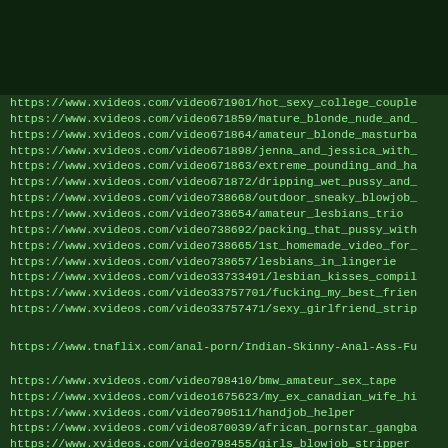https://www.xvideos.com/video671901/hot_sexy_college_couple
https://www.xvideos.com/video671859/mature_blonde_nude_and_
https://www.xvideos.com/video671864/amateur_blonde_masturba
https://www.xvideos.com/video671898/jenna_and_jessica_with_
https://www.xvideos.com/video671863/extreme_pounding_and_ha
https://www.xvideos.com/video671872/dripping_wet_pussy_and_
https://www.xvideos.com/video738668/outdoor_sneaky_blowjob_
https://www.xvideos.com/video738654/amateur_lesbians_trio
https://www.xvideos.com/video738692/packing_that_pussy_with
https://www.xvideos.com/video738665/1st_homemade_video_for_
https://www.xvideos.com/video738657/lesbians_in_lingerie
https://www.xvideos.com/video33733491/lesbian_kisses_compil
https://www.xvideos.com/video33757701/fucking_my_best_frien
https://www.xvideos.com/video33757471/sexy_girlfriend_strip
https://www.tnaflix.com/anal-porn/Indian-Skinny-Anal-Ass-Fu
https://www.xvideos.com/video798410/bmw_amateur_sex_tape
https://www.xvideos.com/video1675623/my_ex_canadian_wife_hi
https://www.xvideos.com/video790511/handjob_helper
https://www.xvideos.com/video870039/african_pornstar_gangba
https://www.xvideos.com/video798455/girls_blowjob_stripper
https://www.xvideos.com/video805915/schoolgirl_with_tiny_ti
https://www.xvideos.com/video1328882/mazing_megu_ayese_in_f
https://www.xvideos.com/video670193/cock_sucking_teen_pov_b
https://www.xvideos.com/video670394/human_fingering_with